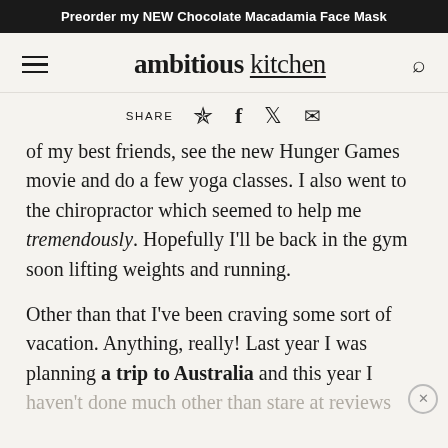Preorder my NEW Chocolate Macadamia Face Mask
ambitious kitchen
SHARE
of my best friends, see the new Hunger Games movie and do a few yoga classes. I also went to the chiropractor which seemed to help me tremendously. Hopefully I'll be back in the gym soon lifting weights and running.
Other than that I've been craving some sort of vacation. Anything, really! Last year I was planning a trip to Australia and this year I haven't done much other than stare at reviews